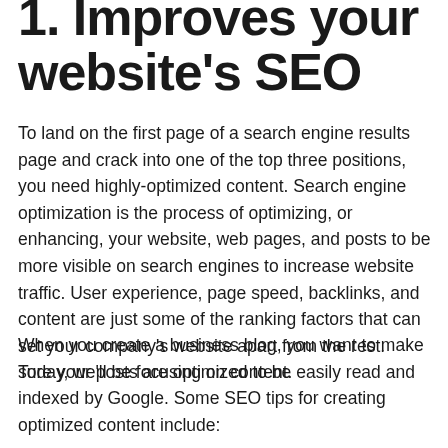1. Improves your website's SEO
To land on the first page of a search engine results page and crack into one of the top three positions, you need highly-optimized content. Search engine optimization is the process of optimizing, or enhancing, your website, web pages, and posts to be more visible on search engines to increase website traffic. User experience, page speed, backlinks, and content are just some of the ranking factors that can set your company's website apart from the rest. Today, we'll be focusing on content.
When you create a business blog, you want to make sure your posts are optimized to be easily read and indexed by Google. Some SEO tips for creating optimized content include: